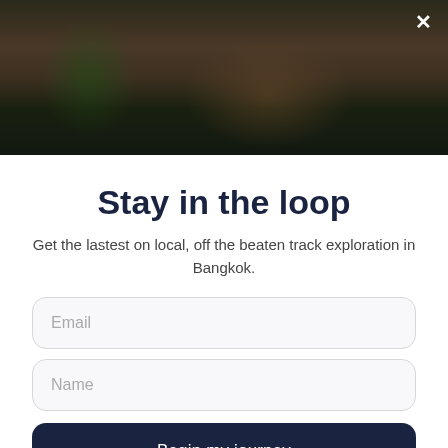[Figure (photo): Dark background photo of a person, appearing as a modal header image with close button overlay]
Stay in the loop
Get the lastest on local, off the beaten track exploration in Bangkok.
Email
Name
Begin my journey